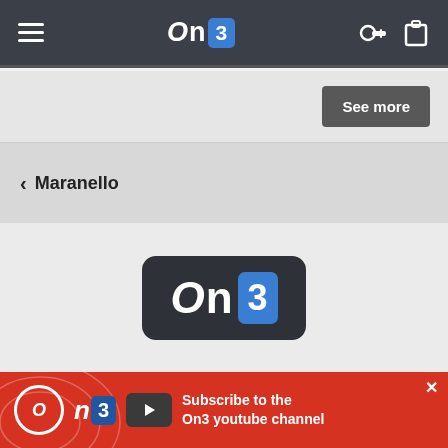On3 navigation bar with hamburger menu, On3 logo, key icon and clipboard icon
See more
< Maranello
[Figure (logo): On3 logo — large dark rounded rectangle with 'On3' text in white, the 3 in a blue box]
About  Contact  Advertisers  Careers
[Figure (infographic): Red advertisement banner: On3 logo circle, play button, text 'Subscribe to the On3 youtube channel', close X button top right]